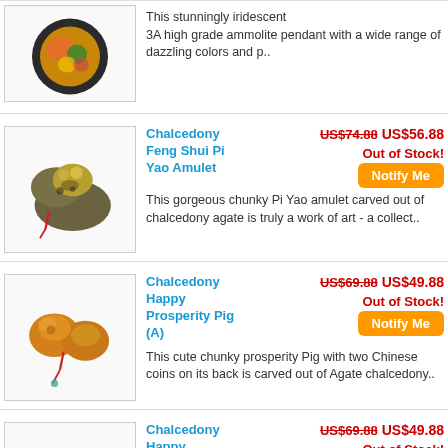This stunningly iridescent 3A high grade ammolite pendant with a wide range of dazzling colors and p..
Chalcedony Feng Shui Pi Yao Amulet — US$74.88 US$56.88 — Out of Stock! — Notify Me — This gorgeous chunky Pi Yao amulet carved out of chalcedony agate is truly a work of art - a collect..
Chalcedony Happy Prosperity Pig (A) — US$69.88 US$49.88 — Out of Stock! — Notify Me — This cute chunky prosperity Pig with two Chinese coins on its back is carved out of Agate chalcedony..
Chalcedony Happy Prosperity Pig (B) — US$69.88 US$49.88 — Out of Stock! — Notify Me — This cute chunky prosperity Pig with two Chinese coins on its back is carved out of Agate chalcedony..